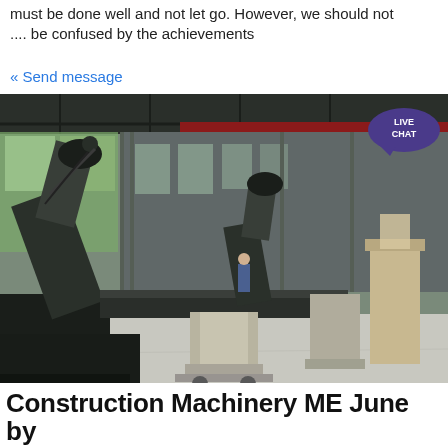must be done well and not let go. However, we should not ... be confused by the achievements
« Send message
[Figure (photo): Industrial factory floor with robotic welding arms working on large machinery components. Multiple robotic arms are positioned along an assembly line. A worker in a mask is visible in the background. The facility has a large open warehouse structure with metal roof trusses and windows along the walls. A LIVE CHAT bubble overlay appears in the top right corner.]
Construction Machinery ME June by